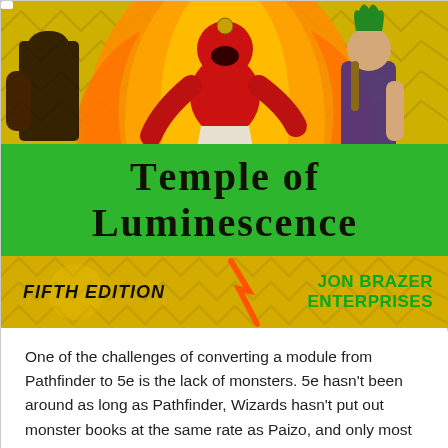[Figure (illustration): Book cover showing a large red demon/monster figure with flames and orange fire wings charging forward, with two other figures (a dark armored figure on the left and a native-dressed warrior on the right) on a yellow geometric pattern background. Green band with title 'Temple of Luminescence'. Bottom bar shows 'Fifth Edition' and 'Jon Brazer Enterprises' logo.]
Temple of Luminescence
One of the challenges of converting a module from Pathfinder to 5e is the lack of monsters. 5e hasn't been around as long as Pathfinder, Wizards hasn't put out monster books at the same rate as Paizo, and only most of